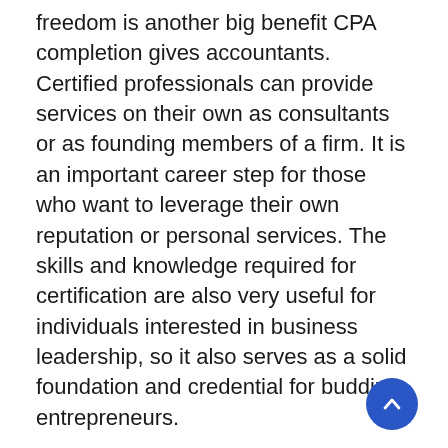freedom is another big benefit CPA completion gives accountants. Certified professionals can provide services on their own as consultants or as founding members of a firm. It is an important career step for those who want to leverage their own reputation or personal services. The skills and knowledge required for certification are also very useful for individuals interested in business leadership, so it also serves as a solid foundation and credential for budding entrepreneurs.
The many benefits of finishing the CPA Couse for accountants show no signs of abating, so it's a solid goal for anyone entering the profession.